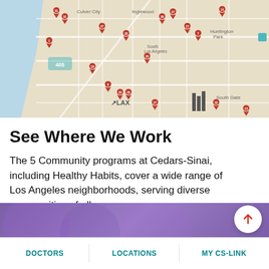[Figure (map): Google Maps view of Los Angeles area showing red pin markers at various community program locations, including areas near LAX, Culver City, Inglewood, South Los Angeles, Huntington Park, and South Gate neighborhoods.]
See Where We Work
The 5 Community programs at Cedars-Sinai, including Healthy Habits, cover a wide range of Los Angeles neighborhoods, serving diverse communities of all ages.
VIEW LOCATIONS
DOCTORS | LOCATIONS | MY CS-LINK